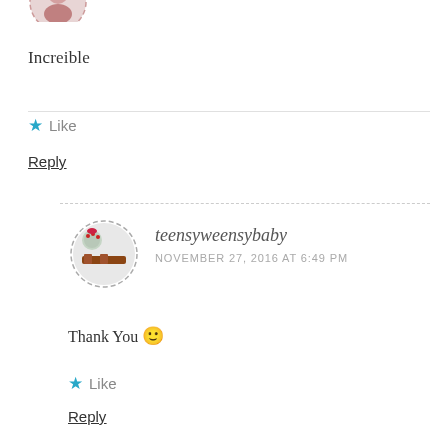[Figure (photo): Partial avatar image of a user, cropped at top of page]
Increible
Like
Reply
[Figure (photo): Round avatar with dashed border showing a winter scene with a sled and Christmas decorations]
teensyweensybaby
NOVEMBER 27, 2016 AT 6:49 PM
Thank You 🙂
Like
Reply